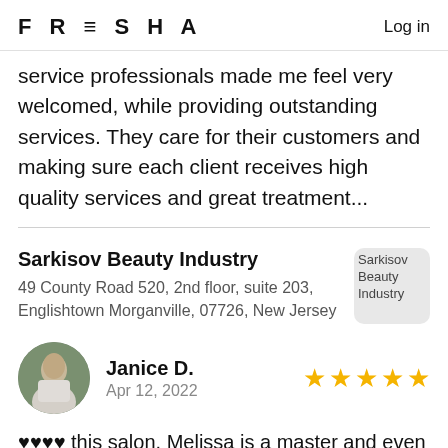FRESHA   Log in
service professionals made me feel very welcomed, while providing outstanding services. They care for their customers and making sure each client receives high quality services and great treatment...
Sarkisov Beauty Industry
49 County Road 520, 2nd floor, suite 203, Englishtown Morganville, 07726, New Jersey
Janice D.
Apr 12, 2022
♥♥♥♥ this salon. Melissa is a master and even tho I e never been treated by the other stylists they always pleasant. PS. Get the scalp facial. Heavenly.